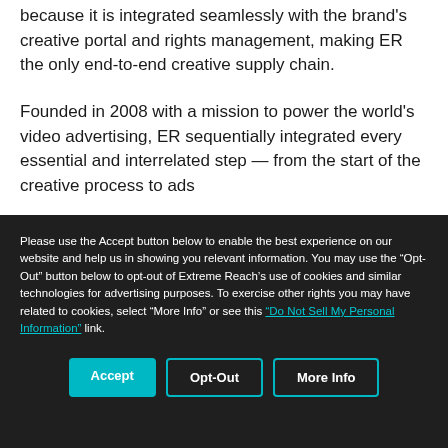because it is integrated seamlessly with the brand's creative portal and rights management, making ER the only end-to-end creative supply chain.
Founded in 2008 with a mission to power the world's video advertising, ER sequentially integrated every essential and interrelated step — from the start of the creative process to ads delivered across screens. Today, ER…
Please use the Accept button below to enable the best experience on our website and help us in showing you relevant information. You may use the "Opt-Out" button below to opt-out of Extreme Reach's use of cookies and similar technologies for advertising purposes. To exercise other rights you may have related to cookies, select "More Info" or see this "Do Not Sell My Personal Information" link.